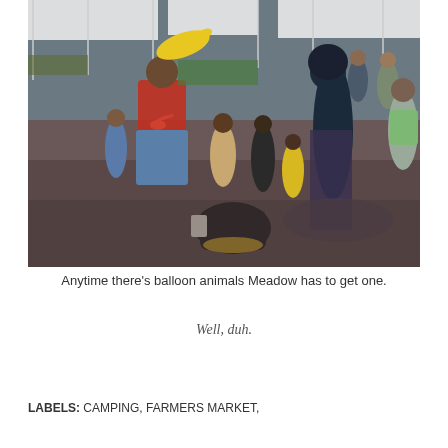[Figure (photo): Outdoor farmers market scene. A man in a red shirt and denim shorts holds balloon animals (a yellow banana-shaped balloon). Several children stand nearby. A woman in a dark hijab and patterned dress stands to the right. Market stalls with white canopies and produce are visible in the background. A black bag with yellow details sits on the pavement in the foreground.]
Anytime there's balloon animals Meadow has to get one.
Well, duh.
LABELS: CAMPING, FARMERS MARKET,